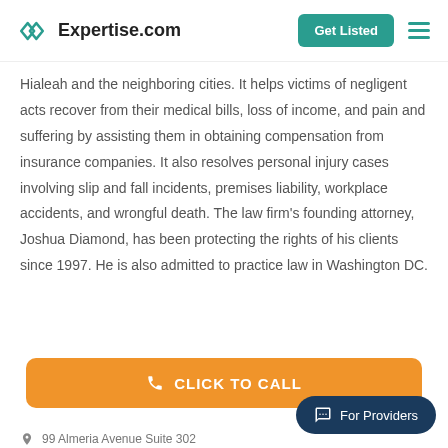Expertise.com | Get Listed
Hialeah and the neighboring cities. It helps victims of negligent acts recover from their medical bills, loss of income, and pain and suffering by assisting them in obtaining compensation from insurance companies. It also resolves personal injury cases involving slip and fall incidents, premises liability, workplace accidents, and wrongful death. The law firm's founding attorney, Joshua Diamond, has been protecting the rights of his clients since 1997. He is also admitted to practice law in Washington DC.
CLICK TO CALL
For Providers
99 Almeria Avenue Suite 302